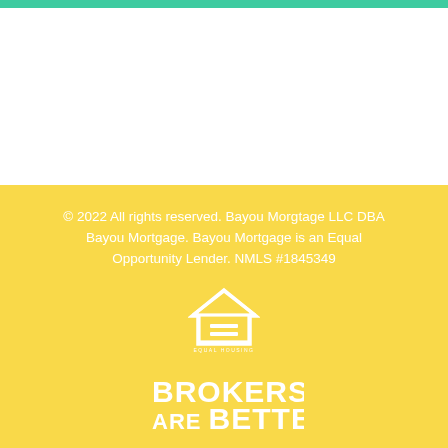© 2022 All rights reserved. Bayou Morgtage LLC DBA Bayou Mortgage. Bayou Mortgage is an Equal Opportunity Lender. NMLS #1845349
[Figure (logo): Equal Housing Lender logo — house outline with equals sign inside, text 'EQUAL HOUSING LENDER' below]
[Figure (logo): BROKERS ARE BETTER logo in bold white text]
[Figure (logo): AIME — Association of Independent Mortgage Experts logo with blue triangle/chevron mark]
Privacy Policy | NMLS Consumer Access